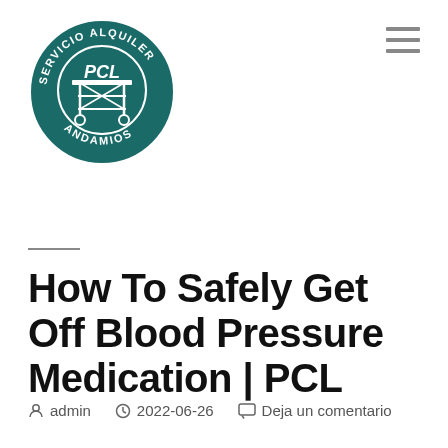[Figure (logo): PCL circular logo with text 'SERVICIO ALQUILER ANDAMIOS' around the border and a scaffold illustration in the center on dark teal background]
[Figure (other): Hamburger menu icon (three horizontal lines) in top right corner]
How To Safely Get Off Blood Pressure Medication | PCL
admin  2022-06-26  Deja un comentario